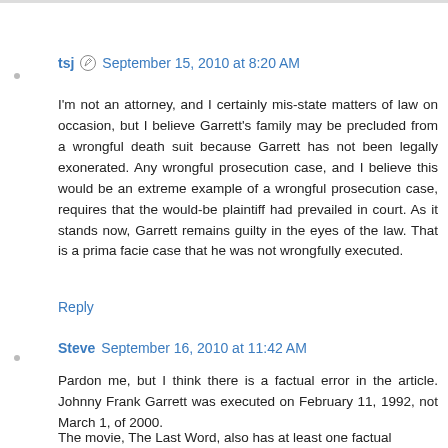tsj  September 15, 2010 at 8:20 AM
I'm not an attorney, and I certainly mis-state matters of law on occasion, but I believe Garrett's family may be precluded from a wrongful death suit because Garrett has not been legally exonerated. Any wrongful prosecution case, and I believe this would be an extreme example of a wrongful prosecution case, requires that the would-be plaintiff had prevailed in court. As it stands now, Garrett remains guilty in the eyes of the law. That is a prima facie case that he was not wrongfully executed.
Reply
Steve  September 16, 2010 at 11:42 AM
Pardon me, but I think there is a factual error in the article. Johnny Frank Garrett was executed on February 11, 1992, not March 1, of 2000.
The movie, The Last Word, also has at least one factual